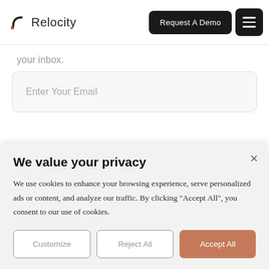Relocity | Request A Demo
your inbox.
Enter Your Email
We value your privacy
We use cookies to enhance your browsing experience, serve personalized ads or content, and analyze our traffic. By clicking "Accept All", you consent to our use of cookies.
Customize | Reject All | Accept All